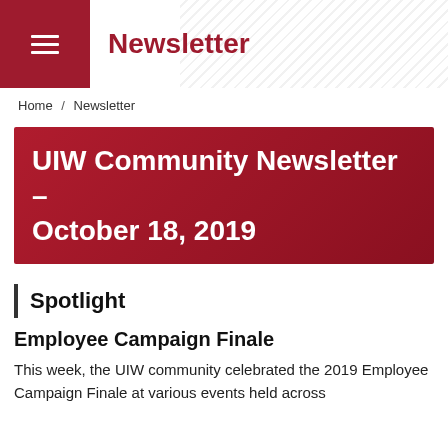Newsletter
Home / Newsletter
UIW Community Newsletter – October 18, 2019
Spotlight
Employee Campaign Finale
This week, the UIW community celebrated the 2019 Employee Campaign Finale at various events held across